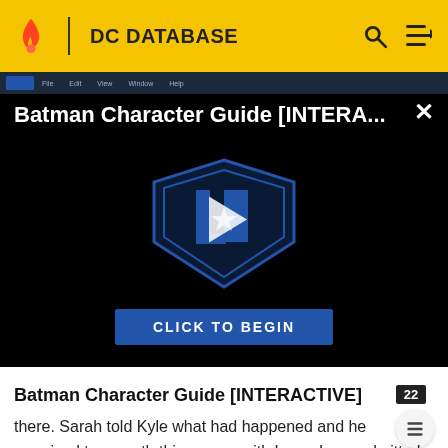DC DATABASE
[Figure (screenshot): Video thumbnail for Batman Character Guide [INTERACTIVE] showing a dark screen with a Justice League logo, play button, and 'CLICK TO BEGIN' button. Title bar reads 'Batman Character Guide [INTERA...' with a close X button.]
Batman Character Guide [INTERACTIVE]
there. Sarah told Kyle what had happened and he promised to smooth things over with Lana. Lana admitted she had reacted poorly because she was under stress from other problems she was having and that night the